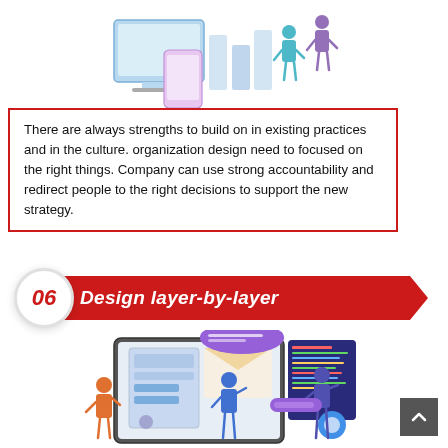[Figure (illustration): Isometric illustration of people using digital devices and screens at top of page]
There are always strengths to build on in existing practices and in the culture. organization design need to focused on the right things. Company can use strong accountability and redirect people to the right decisions to support the new strategy.
06 Design layer-by-layer
[Figure (illustration): Illustration of people interacting with a large tablet/computer screen showing UI elements, code editor, and app components]